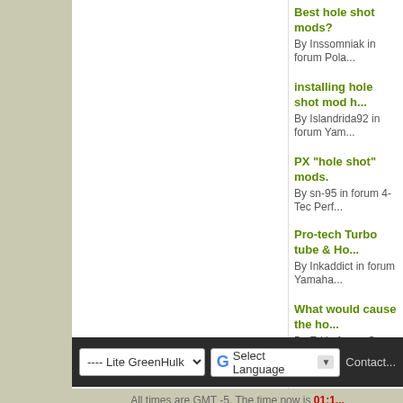Best hole shot mods?
By Inssomniak in forum Pola...
installing hole shot mod h...
By Islandrida92 in forum Yam...
PX "hole shot" mods.
By sn-95 in forum 4-Tec Perf...
Pro-tech Turbo tube & Ho...
By Inkaddict in forum Yamaha...
What would cause the ho...
By Ed in forum Sea Doo Ope...
All times are GMT -5. The time now is 01:1...
Powered by vBulletin® Copyright ©...